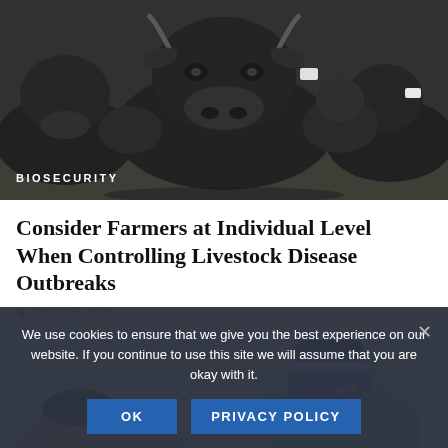[Figure (photo): Black and white photo of a herd of black cattle facing the camera in a field. A label overlay reads BIOSECURITY in the bottom left.]
BIOSECURITY
Consider Farmers at Individual Level When Controlling Livestock Disease Outbreaks
JULY 15, 2022
[Figure (photo): Photo of a person wearing a blue face shield and light blue protective clothing, bending over, viewed from behind and side.]
We use cookies to ensure that we give you the best experience on our website. If you continue to use this site we will assume that you are okay with it.
OK
PRIVACY POLICY